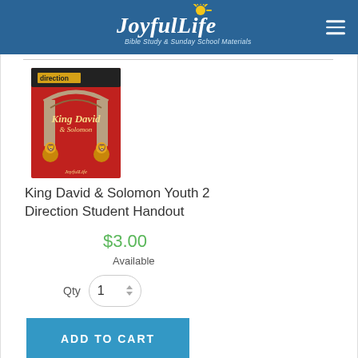[Figure (logo): Joyful Life Bible Study & Sunday School Materials logo with sun graphic on blue header background]
[Figure (photo): Book cover: King David & Solomon Youth 2 Direction student handout, red cover with ornate stone gate and lion imagery]
King David & Solomon Youth 2 Direction Student Handout
$3.00
Available
Qty 1
ADD TO CART